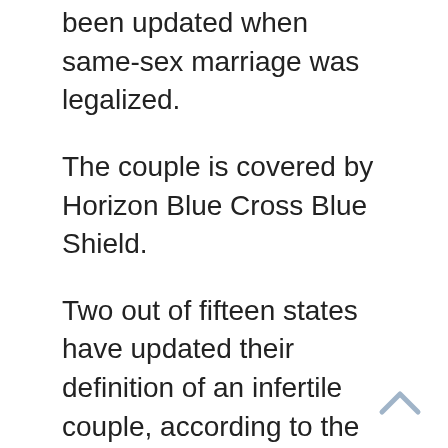been updated when same-sex marriage was legalized.
The couple is covered by Horizon Blue Cross Blue Shield.
Two out of fifteen states have updated their definition of an infertile couple, according to the claim. Horizon commented on the suit saying, “Horizon covers infertility services equally regardless of sexual orientation.”
The lawsuit is trying to force a change in the current regulations and recover money spent by the couple on treatment for infertility.
“We interpret the 2001 New Jersey law defining infertility in a gender and orientation neutral manner and our coverage standard complies with federal non-discrimination requirements,” states